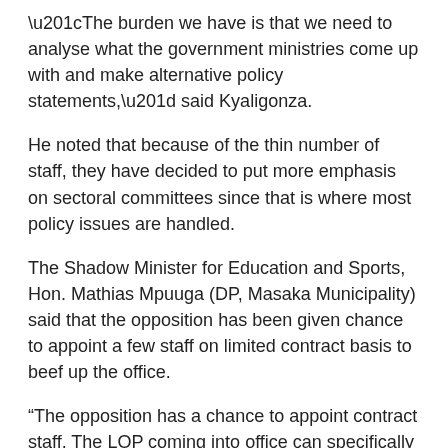“The burden we have is that we need to analyse what the government ministries come up with and make alternative policy statements,” said Kyaligonza.
He noted that because of the thin number of staff, they have decided to put more emphasis on sectoral committees since that is where most policy issues are handled.
The Shadow Minister for Education and Sports, Hon. Mathias Mpuuga (DP, Masaka Municipality) said that the opposition has been given chance to appoint a few staff on limited contract basis to beef up the office.
“The opposition has a chance to appoint contract staff. The LOP coming into office can specifically choose these individuals carefully so that they add value to the office,” he said.